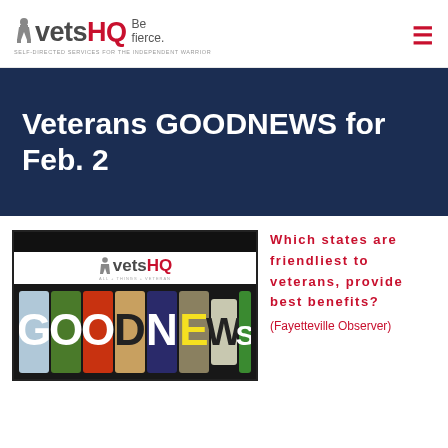vetsHQ Be fierce. SELF-DIRECTED SERVICES FOR THE INDEPENDENT WARRIOR
Veterans GOODNEWS for Feb. 2
[Figure (logo): VetsHQ logo with GOODNEWS letter tiles image]
Which states are friendliest to veterans, provide best benefits? (Fayetteville Observer)